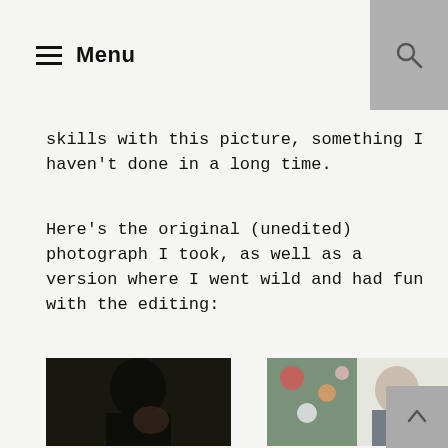Menu
skills with this picture, something I haven't done in a long time.
Here's the original (unedited) photograph I took, as well as a version where I went wild and had fun with the editing:
[Figure (photo): Dark moody portrait of a young woman with short dark hair, chin resting on hand, looking upward, against a dark patterned wallpaper background]
[Figure (photo): Edited version of the same portrait with a floral fabric/kimono draped in the background, brighter and more colorful tones, woman looking upward with hand at chin]